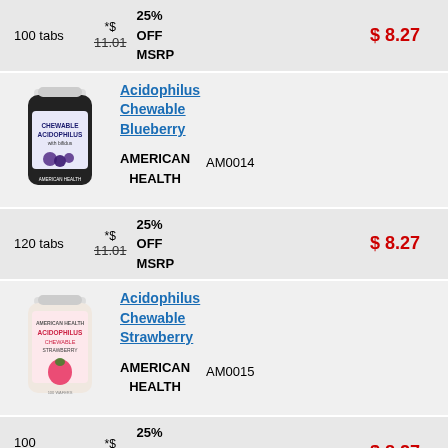100 tabs   *$ 11.01 (strikethrough)   25% OFF MSRP   $ 8.27
[Figure (photo): Bottle of Chewable Acidophilus Blueberry by American Health]
Acidophilus Chewable Blueberry   AMERICAN HEALTH   AM0014
120 tabs   *$ 11.01 (strikethrough)   25% OFF MSRP   $ 8.27
[Figure (photo): Bottle of Chewable Acidophilus Strawberry by American Health]
Acidophilus Chewable Strawberry   AMERICAN HEALTH   AM0015
100 WAFERS   *$ 11.01 (strikethrough)   25% OFF MSRP   $ 8.27